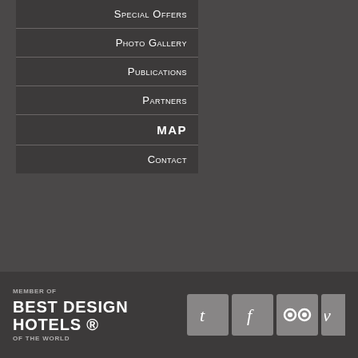Special Offers
Photo Gallery
Publications
Partners
MAP
Contact
MEMBER OF
BEST DESIGN HOTELS ®
OF THE WORLD
[Figure (logo): Social media icons: Twitter (t), Facebook (f), TripAdvisor (owl eyes), Vimeo (v) — partial]